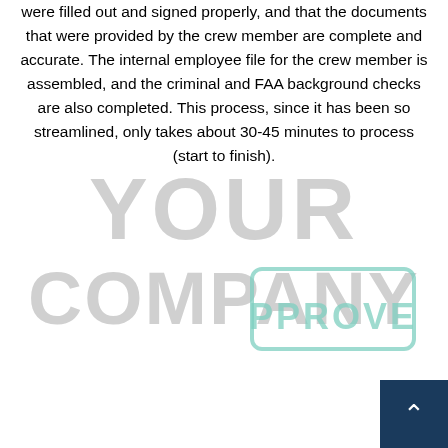were filled out and signed properly, and that the documents that were provided by the crew member are complete and accurate. The internal employee file for the crew member is assembled, and the criminal and FAA background checks are also completed. This process, since it has been so streamlined, only takes about 30-45 minutes to process (start to finish).
[Figure (other): Watermark text reading YOUR COMPANY in large light gray letters, with an APPROVED rubber stamp graphic in teal/mint color in the lower right area.]